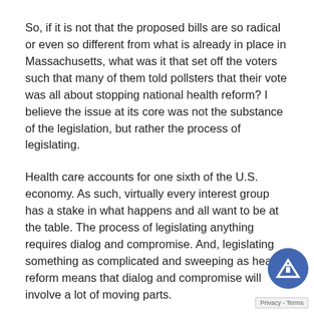So, if it is not that the proposed bills are so radical or even so different from what is already in place in Massachusetts, what was it that set off the voters such that many of them told pollsters that their vote was all about stopping national health reform? I believe the issue at its core was not the substance of the legislation, but rather the process of legislating.
Health care accounts for one sixth of the U.S. economy. As such, virtually every interest group has a stake in what happens and all want to be at the table. The process of legislating anything requires dialog and compromise. And, legislating something as complicated and sweeping as health reform means that dialog and compromise will involve a lot of moving parts.
So is that bad? Not necessarily, but for something th... it is ugly, visible, and takes time. And through this pr... provisions that are not very savory often find their w... into the bill (exhibit A: the special deal for Nebraska, an...